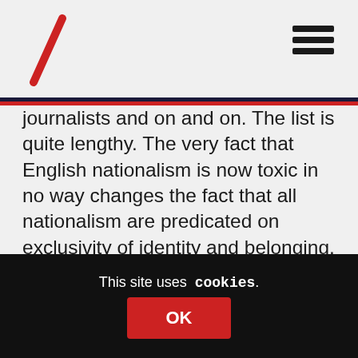journalists and on and on. The list is quite lengthy. The very fact that English nationalism is now toxic in no way changes the fact that all nationalism are predicated on exclusivity of identity and belonging. Hence despite having a referendum, despite voting No, the language is still about what Scotland wants, when it ought to be what a minority of Scots want.

And critiscing nationalism is not the same as being anti independence nor being open to changing forms of political and
This site uses cookies. OK